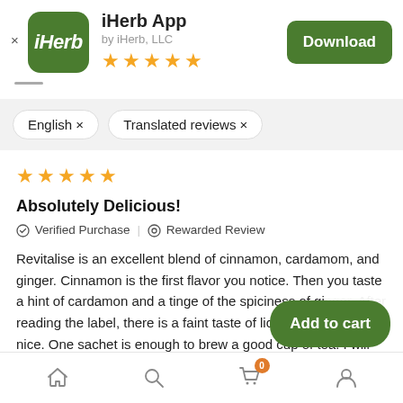[Figure (logo): iHerb app logo - green rounded square with white italic iHerb text]
iHerb App
by iHerb, LLC
[Figure (other): 5 yellow stars rating]
Download
English ×
Translated reviews ×
[Figure (other): 5 yellow stars rating for review]
Absolutely Delicious!
✓ Verified Purchase | ⊙ Rewarded Review
Revitalise is an excellent blend of cinnamon, cardamom, and ginger. Cinnamon is the first flavor you notice. Then you taste a hint of cardamon and a tinge of the spiciness of gi… reading the label, there is a faint taste of licorice r… nice. One sachet is enough to brew a good cup of tea. I will buy
Add to cart